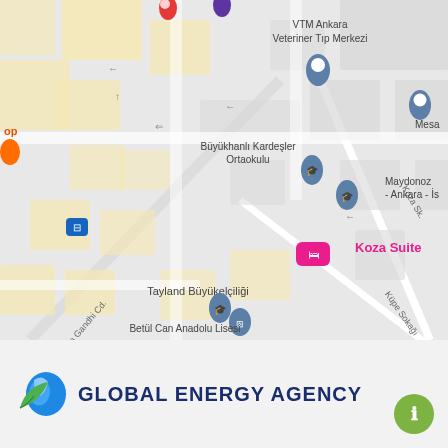[Figure (map): Google Maps screenshot showing an area in Ankara, Turkey. Visible landmarks include VTM Ankara Veteriner Tıp Merkezi, Büyükhanlı Kardeşler Ortaokulu, Maydonoz - Ankara, Mesa, Tayland Büyükelçiliği (Thai Embassy), Koza Suite (pink hotel marker), Betül Can Anadolu Lisesi, with streets including Koza Sk., Küpe Sokağı, and Mahatma Gandhi Cd.]
[Figure (logo): Global Energy Agency logo with green leaf and blue water drop/globe icon on the left, and text 'GLOBAL ENERGY AGENCY' in dark navy blue bold uppercase letters on the right.]